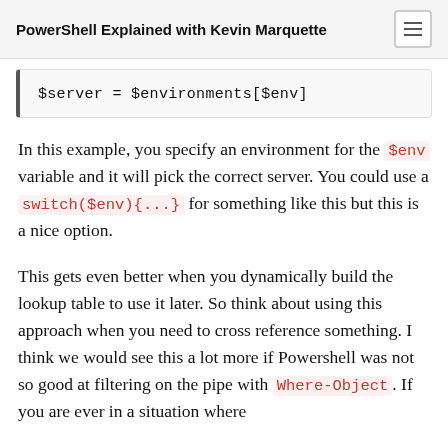PowerShell Explained with Kevin Marquette
$server = $environments[$env]
In this example, you specify an environment for the $env variable and it will pick the correct server. You could use a switch($env){...} for something like this but this is a nice option.
This gets even better when you dynamically build the lookup table to use it later. So think about using this approach when you need to cross reference something. I think we would see this a lot more if Powershell was not so good at filtering on the pipe with Where-Object. If you are ever in a situation where